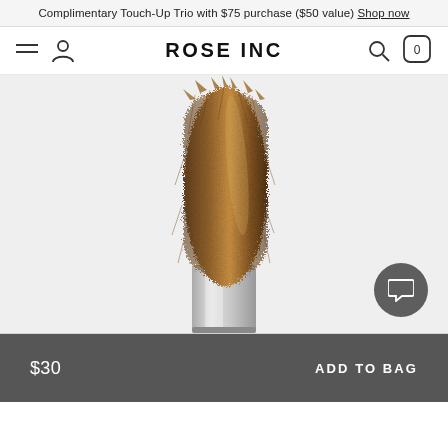Complimentary Touch-Up Trio with $75 purchase ($50 value) Shop now
ROSE INC
[Figure (photo): Close-up of a mascara wand brush with brown/bronze bristles and a silver metallic ferrule, shown against a light gray background. A dark gray circular chat button is visible in the lower right.]
$30  ADD TO BAG